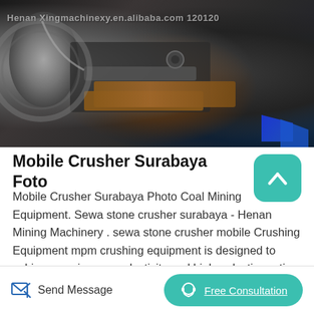[Figure (photo): Close-up photo of industrial crushing/milling machinery with metal components, gears, and an orange/brown structural element. Watermark text reads 'Henan Xingmachinexy.en.alibaba.com 120120']
Mobile Crusher Surabaya Foto
Mobile Crusher Surabaya Photo Coal Mining Equipment. Sewa stone crusher surabaya - Henan Mining Machinery . sewa stone crusher mobile Crushing Equipment mpm crushing equipment is designed to achieve maximum productivity and high reduction ratio From large primary jaw crusher sewa stone crusher surabaya Coal
Send Message | Free Consultation